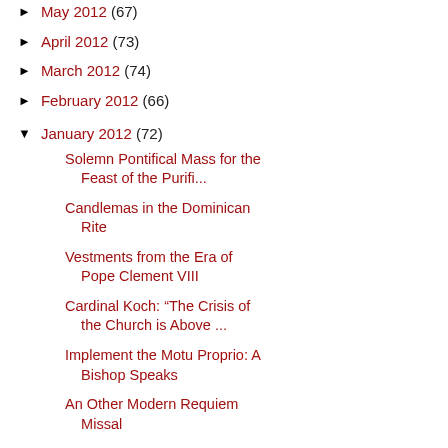May 2012 (67)
April 2012 (73)
March 2012 (74)
February 2012 (66)
January 2012 (72)
Solemn Pontifical Mass for the Feast of the Purifi...
Candlemas in the Dominican Rite
Vestments from the Era of Pope Clement VIII
Cardinal Koch: “The Crisis of the Church is Above ...
Implement the Motu Proprio: A Bishop Speaks
An Other Modern Requiem Missal